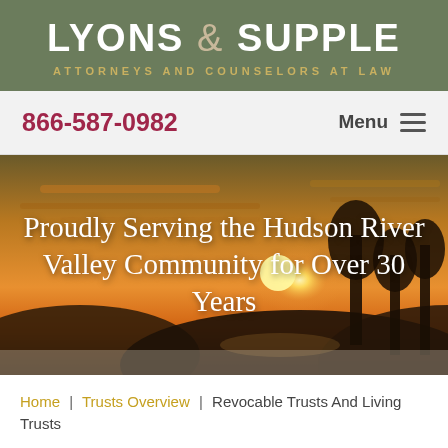LYONS & SUPPLE ATTORNEYS AND COUNSELORS AT LAW
866-587-0982  Menu
[Figure (photo): Scenic sunset over the Hudson River Valley with trees silhouetted against an orange and golden sky, used as a hero image background]
Proudly Serving the Hudson River Valley Community for Over 30 Years
Home | Trusts Overview | Revocable Trusts And Living Trusts